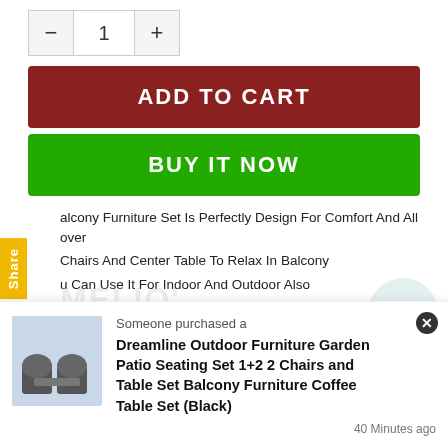- 1 +
ADD TO CART
BUY IT NOW
Balcony Furniture Set Is Perfectly Design For Comfort And All over
2 Chairs And Center Table To Relax In Balcony
You Can Use It For Indoor And Outdoor Also
Durability:Non- Breakable and Easy to handle
Lightweight and durable Long Life and Eco-Friendly
Someone purchased a
Dreamline Outdoor Furniture Garden Patio Seating Set 1+2 2 Chairs and Table Set Balcony Furniture Coffee Table Set (Black)
40 Minutes ago